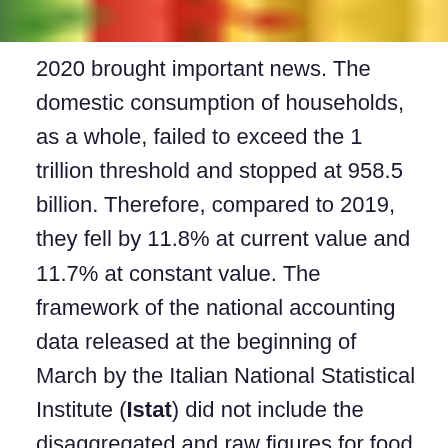[Figure (photo): Colorful food photograph showing vegetables including green leaves, red tomatoes, and golden pasta noodles arranged together]
2020 brought important news. The domestic consumption of households, as a whole, failed to exceed the 1 trillion threshold and stopped at 958.5 billion. Therefore, compared to 2019, they fell by 11.8% at current value and 11.7% at constant value. The framework of the national accounting data released at the beginning of March by the Italian National Statistical Institute (Istat) did not include the disaggregated and raw figures for food consumption in 2020. In fact, the figures released referred to the two basic items: "food and non-alcoholic beverages" and "alcoholic beverages, tobacco and narcotics". However, extrapolating the weight in 2019 represented by the spurious item of tobaccos and narcotics and projecting